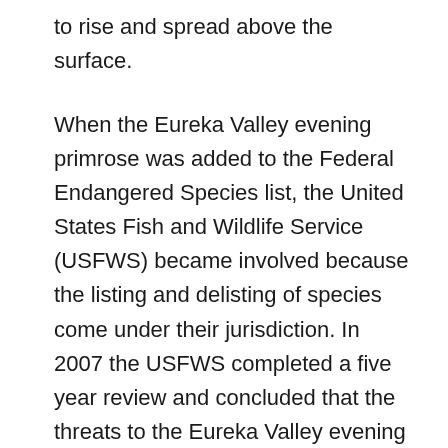to rise and spread above the surface.
When the Eureka Valley evening primrose was added to the Federal Endangered Species list, the United States Fish and Wildlife Service (USFWS) became involved because the listing and delisting of species come under their jurisdiction. In 2007 the USFWS completed a five year review and concluded that the threats to the Eureka Valley evening primrose were reduced to a point where the plant no longer needed to be considered endangered, and it could potentially be taken off the Endangered Species list. They also turned to Death Valley National Park's botanist, Michelle